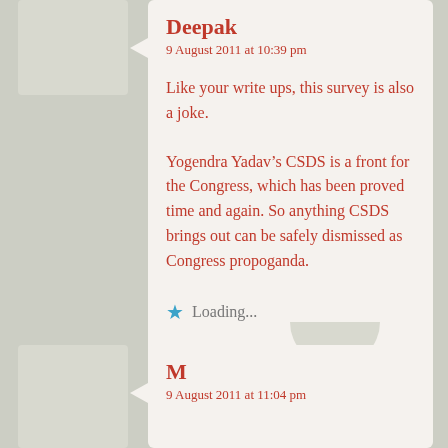Deepak
9 August 2011 at 10:39 pm
Like your write ups, this survey is also a joke.
Yogendra Yadav’s CSDS is a front for the Congress, which has been proved time and again. So anything CSDS brings out can be safely dismissed as Congress propoganda.
Loading...
M
9 August 2011 at 11:04 pm